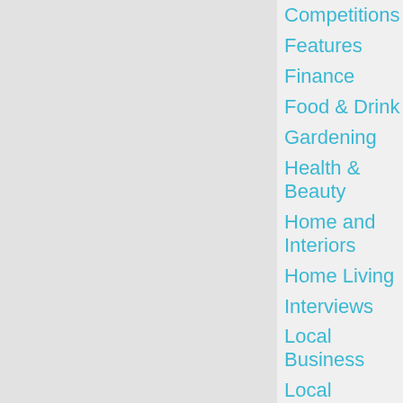Competitions
Features
Finance
Food & Drink
Gardening
Health & Beauty
Home and Interiors
Home Living
Interviews
Local Business
Local Interest
Motoring
Music